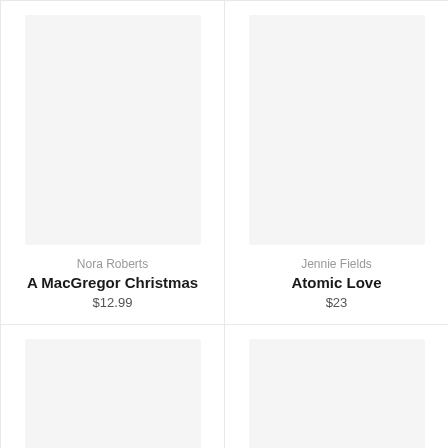[Figure (illustration): Book cover placeholder for A MacGregor Christmas, light gray rectangle]
Nora Roberts
A MacGregor Christmas
$12.99
[Figure (illustration): Book cover placeholder for Atomic Love, light gray rectangle]
Jennie Fields
Atomic Love
$23
[Figure (illustration): Book cover placeholder bottom left, light gray rectangle]
[Figure (illustration): Book cover placeholder bottom right, light gray rectangle]